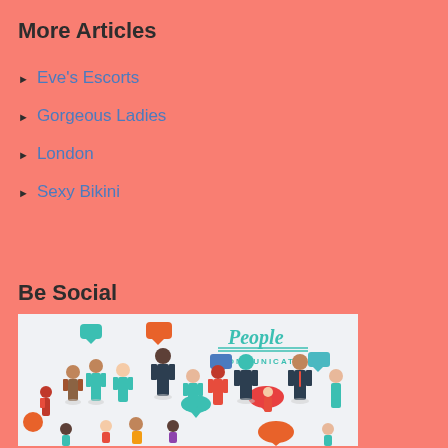More Articles
Eve's Escorts
Gorgeous Ladies
London
Sexy Bikini
Be Social
[Figure (illustration): People Communication illustration showing diverse group of people with speech bubbles, labeled 'People Communication']